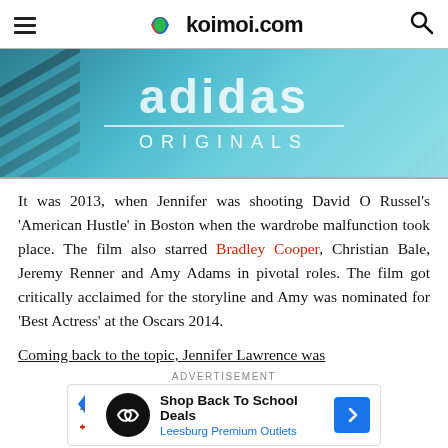koimoi.com
[Figure (photo): Adidas Originals advertisement banner with teal/aqua gradient background showing adidas logo text and ORIGINALS in white lettering]
It was 2013, when Jennifer was shooting David O Russel's 'American Hustle' in Boston when the wardrobe malfunction took place. The film also starred Bradley Cooper, Christian Bale, Jeremy Renner and Amy Adams in pivotal roles. The film got critically acclaimed for the storyline and Amy was nominated for 'Best Actress' at the Oscars 2014.
Coming back to the topic, Jennifer Lawrence was
ADVERTISEMENT
[Figure (screenshot): Shop Back To School Deals - Leesburg Premium Outlets advertisement banner]